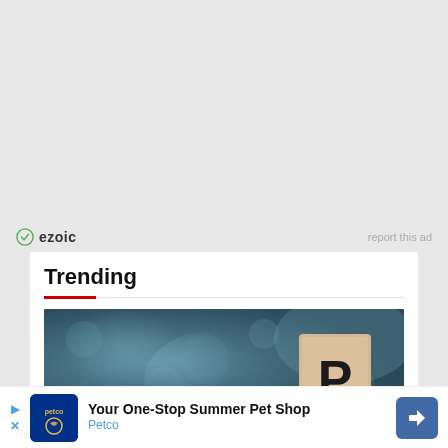[Figure (other): Gray advertisement placeholder area at the top of the page]
ezoic   report this ad
Trending
[Figure (photo): Photo of a wooden Scrabble letter tile showing the letter P against a blurred dark teal/blue background]
[Figure (other): Bottom advertisement banner for Petco: 'Your One-Stop Summer Pet Shop' with Petco logo and blue diamond arrow icon]